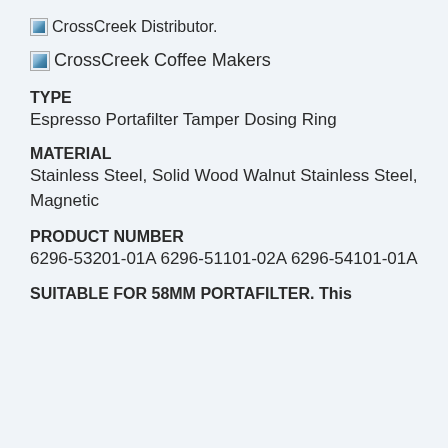[Figure (logo): Broken image icon for CrossCreek Distributor logo]
CrossCreek Distributor.
[Figure (logo): Broken image icon for CrossCreek Coffee Makers]
CrossCreek Coffee Makers
TYPE
Espresso Portafilter Tamper Dosing Ring
MATERIAL
Stainless Steel, Solid Wood Walnut Stainless Steel, Magnetic
PRODUCT NUMBER
6296-53201-01A 6296-51101-02A 6296-54101-01A
SUITABLE FOR 58MM PORTAFILTER. This